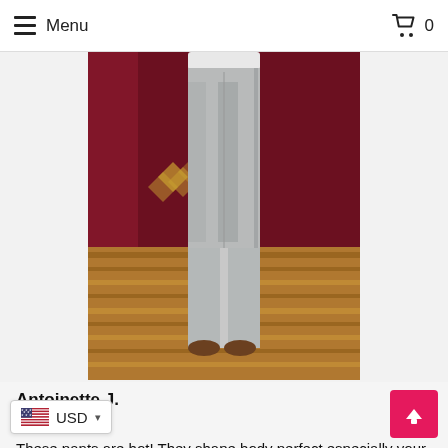Menu  0
[Figure (photo): A person wearing light grey/silver leggings photographed from behind, standing on a hardwood floor with a dark red/maroon wall in the background. The photo shows the lower body from waist to feet.]
Antoinette J.
★★★★★
These pants are hot! They shape body perfect especially your ocks. I love the look as they're unlike the typical black leggings